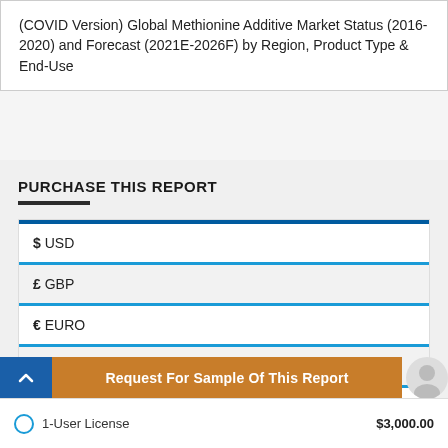(COVID Version) Global Methionine Additive Market Status (2016-2020) and Forecast (2021E-2026F) by Region, Product Type & End-Use
PURCHASE THIS REPORT
$ USD
£ GBP
€ EURO
¥ YEN
₹ INR
Request For Sample Of This Report
1-User License   $3,000.00